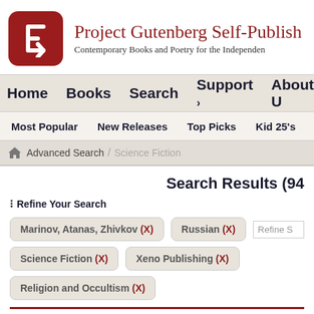[Figure (logo): Project Gutenberg Self-Publishing logo: red rounded square with white G-like arrow symbol]
Project Gutenberg Self-Publish
Contemporary Books and Poetry for the Independen
Home   Books   Search   Support ›   About U
Most Popular   New Releases   Top Picks   Kid 25's
Advanced Search > Science Fiction
Search Results (94
≔ Refine Your Search
Marinov, Atanas, Zhivkov (X)
Russian (X)
Science Fiction (X)
Xeno Publishing (X)
Religion and Occultism (X)
ADVANCED SEARCH